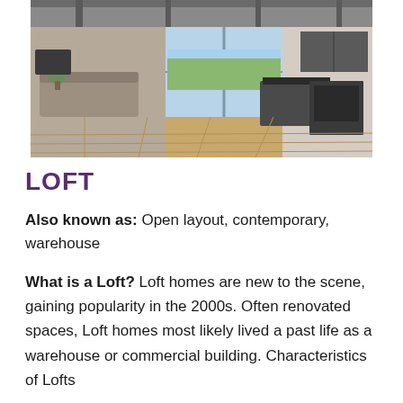[Figure (photo): Interior of a modern loft apartment showing open-plan living area with hardwood floors, large windows, kitchen island, and contemporary furniture]
LOFT
Also known as: Open layout, contemporary, warehouse
What is a Loft? Loft homes are new to the scene, gaining popularity in the 2000s. Often renovated spaces, Loft homes most likely lived a past life as a warehouse or commercial building. Characteristics of Lofts